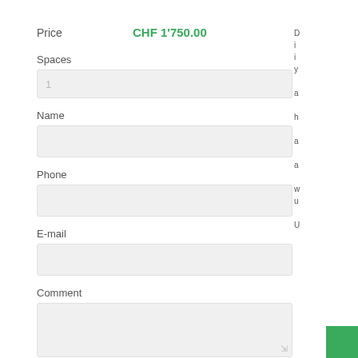Price   CHF 1'750.00
Spaces
Name
Phone
E-mail
Comment